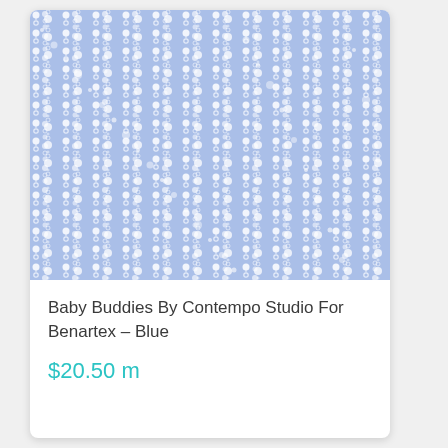[Figure (photo): Light blue fabric with vertical stripes of white dots and small circles forming a repeating pattern on a blue background — Baby Buddies By Contempo Studio For Benartex in Blue colorway.]
Baby Buddies By Contempo Studio For Benartex – Blue
$20.50 m